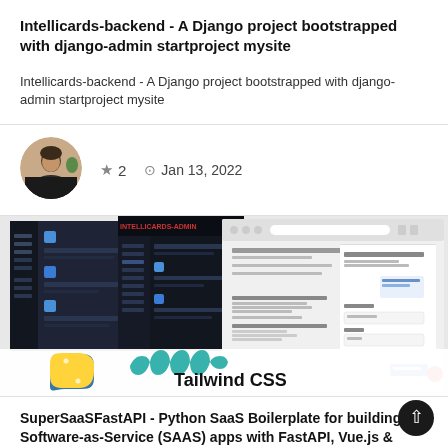Intellicards-backend - A Django project bootstrapped with django-admin startproject mysite
Intellicards-backend - A Django project bootstrapped with django-admin startproject mysite
[Figure (screenshot): Profile photo of a person sitting at a desk in a dark room]
★ 2   🕐 Jan 13, 2022
[Figure (screenshot): Screenshots of a web application interface showing dark dashboard panels and lighter form panels, with Python and Tailwind CSS logos at the bottom]
SuperSaaSFastAPI - Python SaaS Boilerplate for building Software-as-Service (SAAS) apps with FastAPI, Vue.js & Tailwind